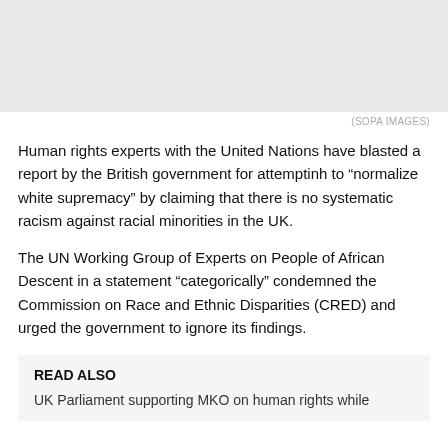[Figure (photo): Gray placeholder image at top of article]
(SOPA IMAGES)
Human rights experts with the United Nations have blasted a report by the British government for attemptinh to “normalize white supremacy” by claiming that there is no systematic racism against racial minorities in the UK.
The UN Working Group of Experts on People of African Descent in a statement “categorically” condemned the Commission on Race and Ethnic Disparities (CRED) and urged the government to ignore its findings.
READ ALSO
UK Parliament supporting MKO on human rights while